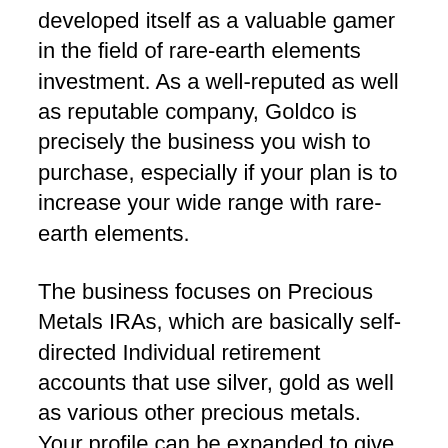developed itself as a valuable gamer in the field of rare-earth elements investment. As a well-reputed as well as reputable company, Goldco is precisely the business you wish to purchase, especially if your plan is to increase your wide range with rare-earth elements.
The business focuses on Precious Metals IRAs, which are basically self-directed Individual retirement accounts that use silver, gold as well as various other precious metals. Your profile can be expanded to give a pillow for your finances to prevent the effects of the volatility of the securities market by investing in silver or gold. Precious metals are prominent investments conventionally their value are well...